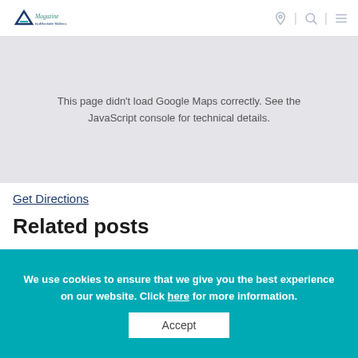Magazine by Affordable Mallorca
[Figure (other): Google Maps failed to load area showing error message: This page didn't load Google Maps correctly. See the JavaScript console for technical details.]
This page didn't load Google Maps correctly. See the JavaScript console for technical details.
Get Directions
Related posts
We use cookies to ensure that we give you the best experience on our website. Click here for more information.
Accept